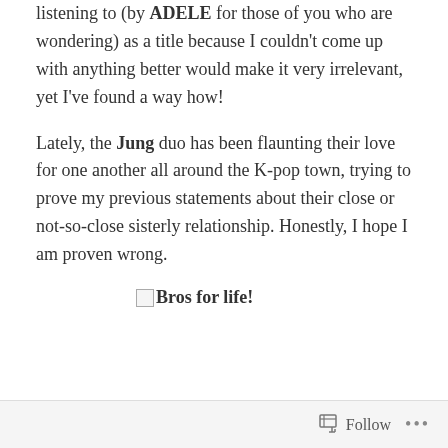listening to (by ADELE for those of you who are wondering) as a title because I couldn't come up with anything better would make it very irrelevant, yet I've found a way how!
Lately, the Jung duo has been flaunting their love for one another all around the K-pop town, trying to prove my previous statements about their close or not-so-close sisterly relationship. Honestly, I hope I am proven wrong.
[Figure (photo): Broken image placeholder with alt text 'Bros for life!']
Follow ···